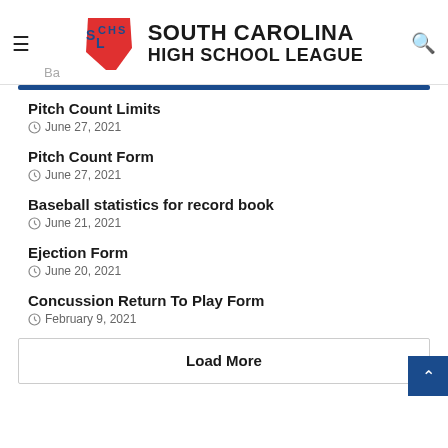South Carolina High School League
Pitch Count Limits
June 27, 2021
Pitch Count Form
June 27, 2021
Baseball statistics for record book
June 21, 2021
Ejection Form
June 20, 2021
Concussion Return To Play Form
February 9, 2021
Load More